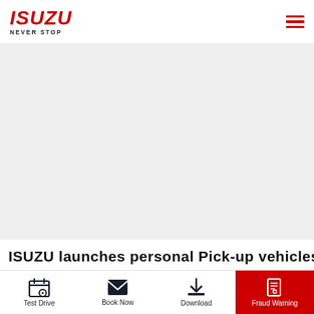[Figure (logo): Isuzu logo with 'NEVER STOP' tagline in red and dark navy]
[Figure (illustration): Light grey hero/banner area (vehicle image not loaded)]
ISUZU launches personal Pick-up vehicles
[Figure (infographic): Bottom navigation bar with four items: Test Drive (calendar icon), Book Now (envelope icon), Download (download icon), Fraud Warning (document icon on red background)]